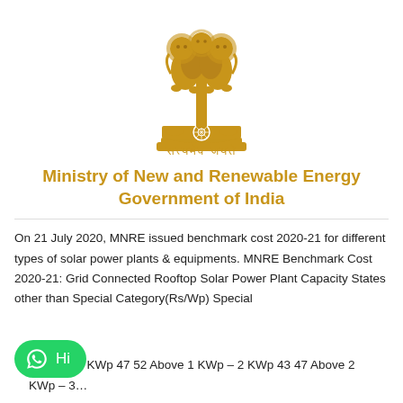[Figure (logo): Ashoka Emblem / Satyamev Jayate — Government of India national emblem in gold, with four lions on capital, chakra, horse and bull. Devanagari text 'सत्यमेव जयते' below in gold.]
Ministry of New and Renewable Energy Government of India
On 21 July 2020, MNRE issued benchmark cost 2020-21 for different types of solar power plants & equipments. MNRE Benchmark Cost 2020-21: Grid Connected Rooftop Solar Power Plant Capacity States other than Special Category(Rs/Wp) Special (Rs/Wp) 1 KWp 47 52 Above 1 KWp – 2 KWp 43 47 Above 2 KWp – 3…